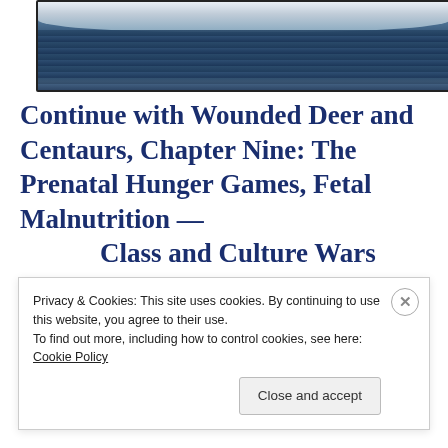[Figure (photo): Ocean waves photograph showing dark blue choppy water with white foam/spray at the top]
Continue with Wounded Deer and Centaurs, Chapter Nine: The Prenatal Hunger Games, Fetal Malnutrition — Class and Culture Wars
Privacy & Cookies: This site uses cookies. By continuing to use this website, you agree to their use.
To find out more, including how to control cookies, see here: Cookie Policy
Close and accept